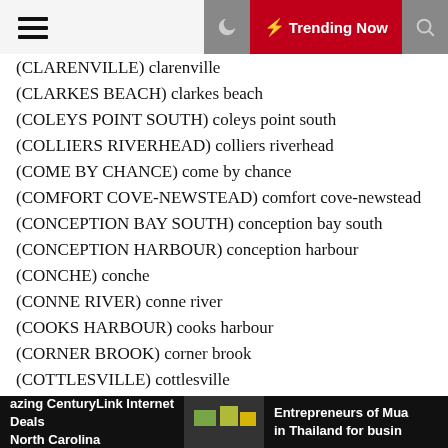Trending Now
(CLARENVILLE) clarenville
(CLARKES BEACH) clarkes beach
(COLEYS POINT SOUTH) coleys point south
(COLLIERS RIVERHEAD) colliers riverhead
(COME BY CHANCE) come by chance
(COMFORT COVE-NEWSTEAD) comfort cove-newstead
(CONCEPTION BAY SOUTH) conception bay south
(CONCEPTION HARBOUR) conception harbour
(CONCHE) conche
(CONNE RIVER) conne river
(COOKS HARBOUR) cooks harbour
(CORNER BROOK) corner brook
(COTTLESVILLE) cottlesville
(COW HEAD) cow head
(COXS COVE) coxs cove
(CUPIDS) cupids
(DANIELS HARBOUR) daniels harbour
azing CenturyLink Internet Deals North Carolina | Entrepreneurs of Mua in Thailand for busin